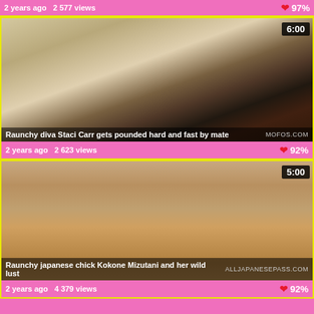2 years ago  2 577 views  97%
[Figure (photo): Video thumbnail: Raunchy diva Staci Carr gets pounded hard and fast by mate, duration 6:00]
2 years ago  2 623 views  92%
[Figure (photo): Video thumbnail: Raunchy japanese chick Kokone Mizutani and her wild lust, duration 5:00]
2 years ago  4 379 views  92%